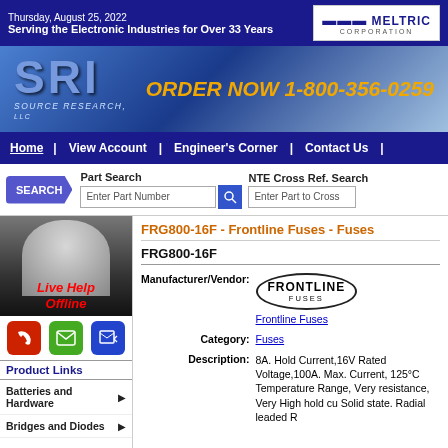Thursday, August 25, 2022 | Serving the Electronic Industries for Over 33 Years | MELTRIC CORPORATION
[Figure (logo): SRI Source Research LLC logo with ORDER NOW 1-800-356-0259]
Home | View Account | Engineer's Corner | Contact Us
Part Search - Enter Part Number | NTE Cross Ref. Search - Enter Part to Cross
FRG800-16F - Frontline Fuses - Fuses
FRG800-16F
Manufacturer/Vendor: Frontline Fuses
Category: Fuses
Description: 8A. Hold Current,16V Rated Voltage,100A. Max. Current, 125°C Temperature Range, Very resistance, Very High hold cu Solid state. Radial leaded R
Live Help Offline
Product Links
Batteries and Hardware
Bridges and Diodes